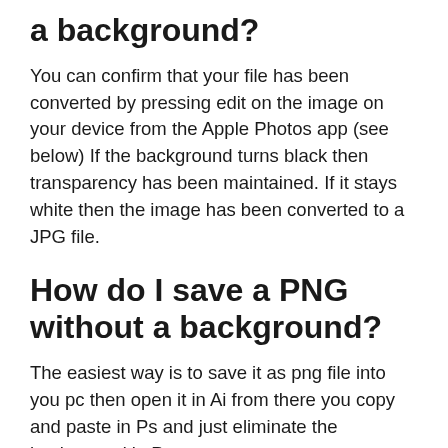a background?
You can confirm that your file has been converted by pressing edit on the image on your device from the Apple Photos app (see below) If the background turns black then transparency has been maintained. If it stays white then the image has been converted to a JPG file.
How do I save a PNG without a background?
The easiest way is to save it as png file into you pc then open it in Ai from there you copy and paste in Ps and just eliminate the background in Ps.